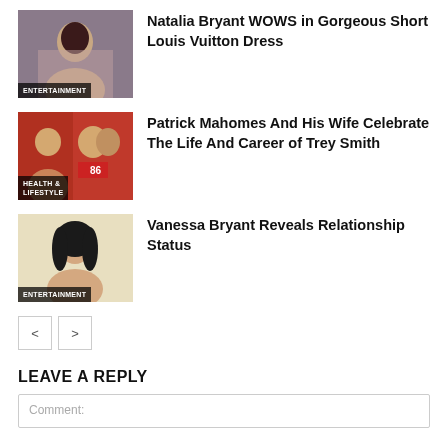[Figure (photo): Thumbnail of Natalia Bryant with ENTERTAINMENT badge]
Natalia Bryant WOWS in Gorgeous Short Louis Vuitton Dress
[Figure (photo): Thumbnail of Patrick Mahomes and others with HEALTH & LIFESTYLE badge]
Patrick Mahomes And His Wife Celebrate The Life And Career of Trey Smith
[Figure (photo): Thumbnail of Vanessa Bryant with ENTERTAINMENT badge]
Vanessa Bryant Reveals Relationship Status
LEAVE A REPLY
Comment: